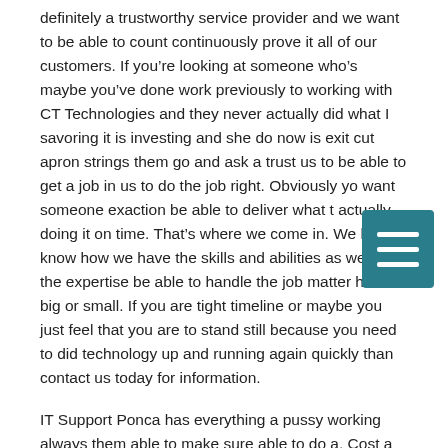definitely a trustworthy service provider and we want to be able to count continuously prove it all of our customers. If you're looking at someone who's maybe you've done work previously to working with CT Technologies and they never actually did what I savoring it is investing and she do now is exit cut apron strings them go and ask a trust us to be able to get a job in us to do the job right. Obviously you want someone exaction be able to deliver what they actually doing it on time. That's where we come in. We have a know how we have the skills and abilities as well as the expertise be able to handle the job matter how big or small. If you are tight timeline or maybe you just feel that you are to stand still because you need to did technology up and running again quickly than contact us today for information.
IT Support Ponca has everything a pussy working always them able to make sure able to do a. Cost a